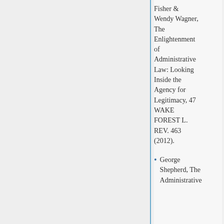Fisher & Wendy Wagner, The Enlightenment of Administrative Law: Looking Inside the Agency for Legitimacy, 47 WAKE FOREST L. REV. 463 (2012).
George Shepherd, The Administrative